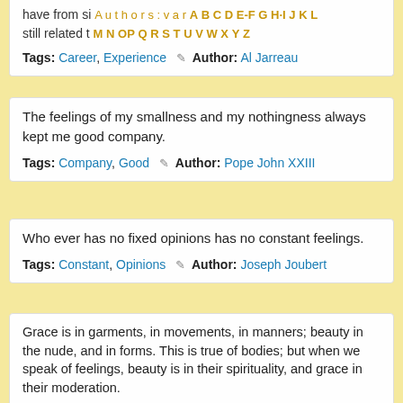have from si Authors: var... still related t M N O P Q R S T U V W X Y Z
Tags: Career, Experience  ✎ Author: Al Jarreau
The feelings of my smallness and my nothingness always kept me good company.
Tags: Company, Good  ✎ Author: Pope John XXIII
Who ever has no fixed opinions has no constant feelings.
Tags: Constant, Opinions  ✎ Author: Joseph Joubert
Grace is in garments, in movements, in manners; beauty in the nude, and in forms. This is true of bodies; but when we speak of feelings, beauty is in their spirituality, and grace in their moderation.
Tags: Beauty, True  ✎ Author: Joseph Joubert